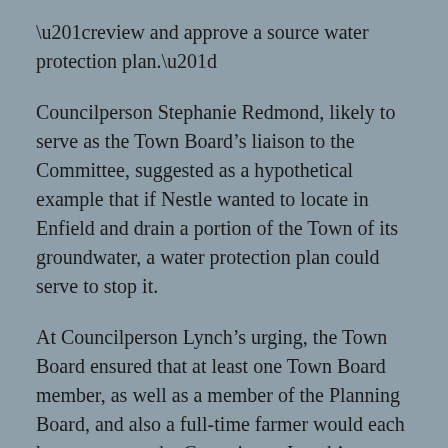“review and approve a source water protection plan.”
Councilperson Stephanie Redmond, likely to serve as the Town Board’s liaison to the Committee, suggested as a hypothetical example that if Nestle wanted to locate in Enfield and drain a portion of the Town of its groundwater, a water protection plan could serve to stop it.
At Councilperson Lynch’s urging, the Town Board ensured that at least one Town Board member, as well as a member of the Planning Board, and also a full-time farmer would each have a seat on the Committee.  Lynch’s